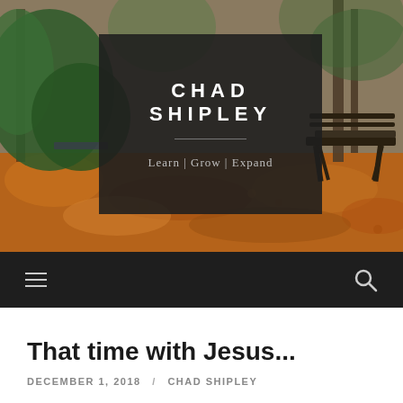[Figure (photo): Autumn outdoor scene with fallen orange and brown leaves on the ground, a wooden bench on the right, and green foliage/trees on the left. A dark semi-transparent overlay box is centered containing the blog name and tagline.]
CHAD SHIPLEY
Learn | Grow | Expand
≡  🔍
That time with Jesus...
DECEMBER 1, 2018 / CHAD SHIPLEY